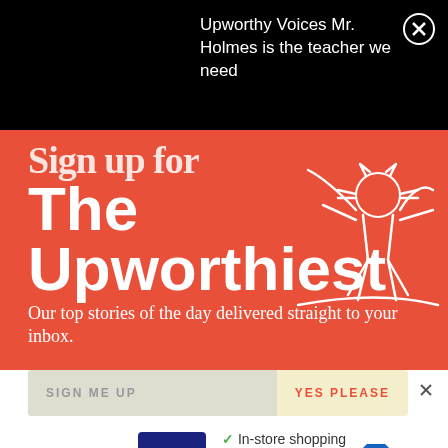Upworthy Voices Mr. Holmes is the teacher we need
Sign up for The Upworthiest
Our top stories of the day delivered straight to your inbox.
SIGN ME UP
YES PLEASE
[Figure (illustration): White line drawing of a figure on orange/red background]
In-store shopping
Curbside pickup
Delivery